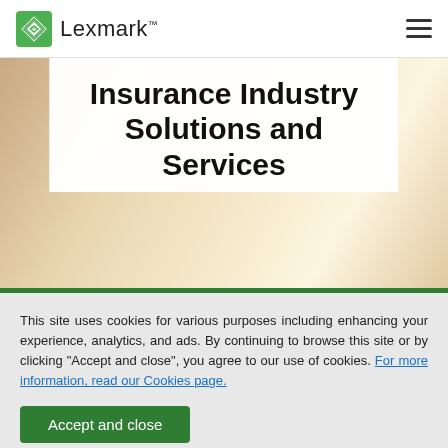Lexmark™
Insurance Industry Solutions and Services
[Figure (photo): Blurred background photo showing a warm-toned office or document setting, used as hero banner background]
This site uses cookies for various purposes including enhancing your experience, analytics, and ads. By continuing to browse this site or by clicking "Accept and close", you agree to our use of cookies. For more information, read our Cookies page.
Accept and close